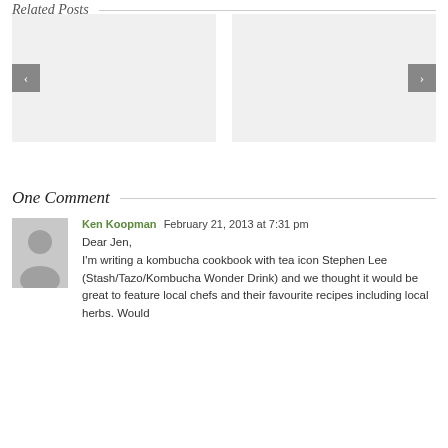Related Posts
[Figure (photo): Two placeholder image boxes for related posts, with left and right navigation arrow buttons overlaid]
One Comment
[Figure (illustration): Generic user avatar silhouette placeholder image]
Ken Koopman  February 21, 2013 at 7:31 pm
Dear Jen,
I'm writing a kombucha cookbook with tea icon Stephen Lee (Stash/Tazo/Kombucha Wonder Drink) and we thought it would be great to feature local chefs and their favourite recipes including local herbs. Would